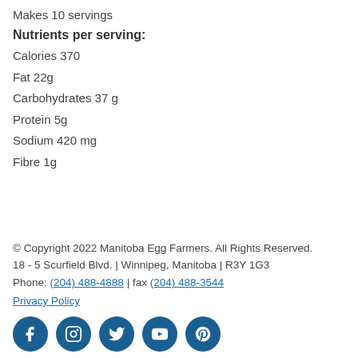Makes 10 servings
Nutrients per serving:
Calories 370
Fat 22g
Carbohydrates 37 g
Protein 5g
Sodium 420 mg
Fibre 1g
© Copyright 2022 Manitoba Egg Farmers. All Rights Reserved.
18 - 5 Scurfield Blvd. | Winnipeg, Manitoba | R3Y 1G3
Phone: (204) 488-4888 | fax (204) 488-3544
Privacy Policy
[Figure (other): Row of 5 social media icon buttons (Facebook, Instagram, Twitter, YouTube, Pinterest) as dark blue circles with white icons]